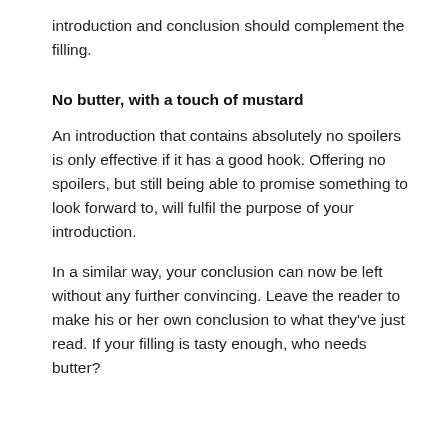introduction and conclusion should complement the filling.
No butter, with a touch of mustard
An introduction that contains absolutely no spoilers is only effective if it has a good hook. Offering no spoilers, but still being able to promise something to look forward to, will fulfil the purpose of your introduction.
In a similar way, your conclusion can now be left without any further convincing. Leave the reader to make his or her own conclusion to what they've just read. If your filling is tasty enough, who needs butter?